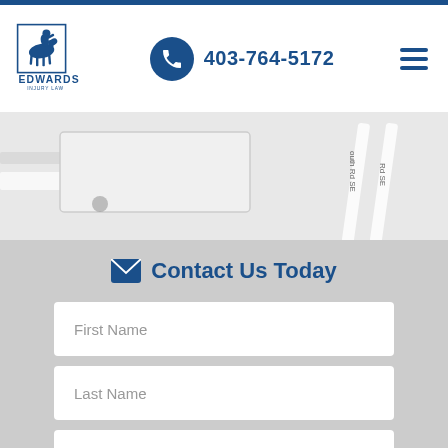Edwards Injury Law — 403-764-5172
[Figure (map): Partial street map showing roads labeled 'outh Rd SE' and 'Rd SE' in the upper right, with a building footprint visible on the left side.]
Contact Us Today
First Name
Last Name
Email
Phone